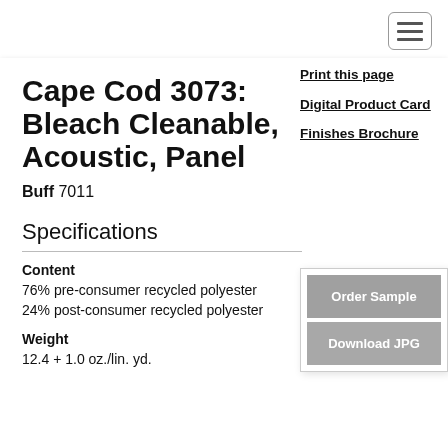[Figure (other): Hamburger menu icon button in top right corner]
Cape Cod 3073: Bleach Cleanable, Acoustic, Panel
Buff 7011
Specifications
Content
76% pre-consumer recycled polyester
24% post-consumer recycled polyester
Weight
12.4 + 1.0 oz./lin. yd.
Print this page
Digital Product Card
Finishes Brochure
Order Sample
Download JPG